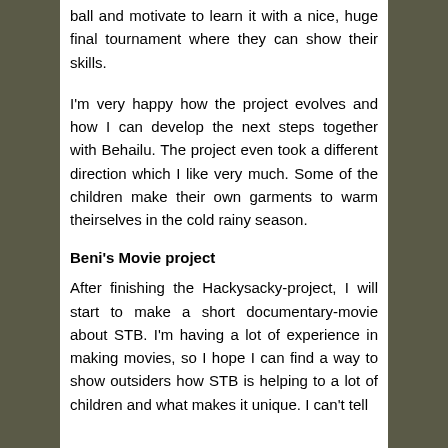ball and motivate to learn it with a nice, huge final tournament where they can show their skills.
I'm very happy how the project evolves and how I can develop the next steps together with Behailu. The project even took a different direction which I like very much. Some of the children make their own garments to warm theirselves in the cold rainy season.
Beni's Movie project
After finishing the Hackysacky-project, I will start to make a short documentary-movie about STB. I'm having a lot of experience in making movies, so I hope I can find a way to show outsiders how STB is helping to a lot of children and what makes it unique. I can't tell